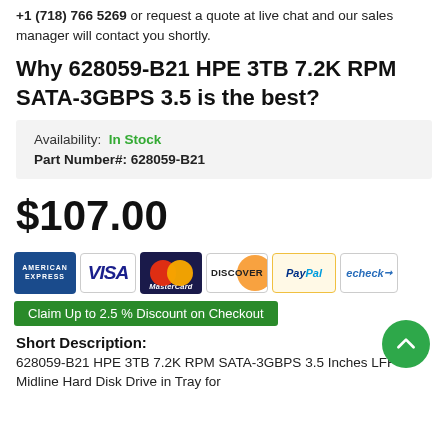+1 (718) 766 5269 or request a quote at live chat and our sales manager will contact you shortly.
Why 628059-B21 HPE 3TB 7.2K RPM SATA-3GBPS 3.5 is the best?
| Field | Value |
| --- | --- |
| Availability: | In Stock |
| Part Number#: | 628059-B21 |
$107.00
[Figure (other): Payment method icons: American Express, Visa, MasterCard, Discover, PayPal, echeck]
Claim Up to 2.5 % Discount on Checkout
Short Description:
628059-B21 HPE 3TB 7.2K RPM SATA-3GBPS 3.5 Inches LFF Midline Hard Disk Drive in Tray for